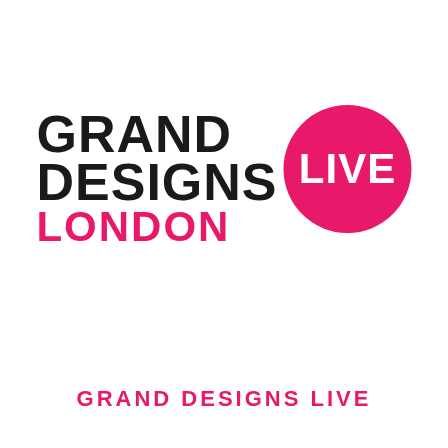[Figure (logo): Grand Designs Live London logo: bold black uppercase text 'GRAND DESIGNS' stacked above pink 'LONDON', with a pink circle containing white bold 'LIVE' text to the right.]
GRAND DESIGNS LIVE